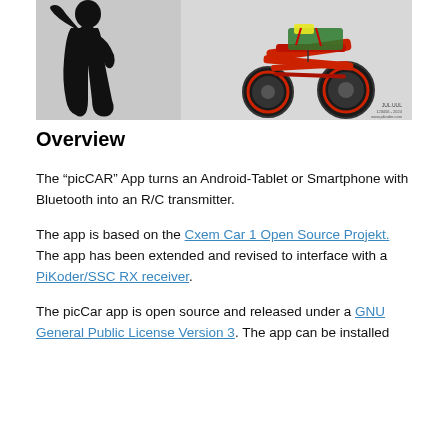[Figure (photo): Photo showing a black silhouette of a person holding a remote control on the left, and a red RC rock crawler car with electronics mounted on it on the right, against a light gray background. A small watermark/logo appears in the bottom right corner.]
Overview
The “picCAR” App turns an Android-Tablet or Smartphone with Bluetooth into an R/C transmitter.
The app is based on the Cxem Car 1 Open Source Projekt. The app has been extended and revised to interface with a PiKoder/SSC RX receiver.
The picCar app is open source and released under a GNU General Public License Version 3. The app can be installed